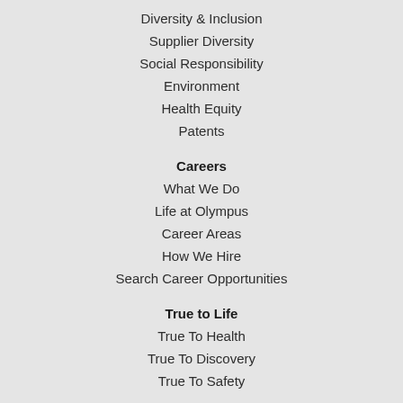Diversity & Inclusion
Supplier Diversity
Social Responsibility
Environment
Health Equity
Patents
Careers
What We Do
Life at Olympus
Career Areas
How We Hire
Search Career Opportunities
True to Life
True To Health
True To Discovery
True To Safety
News & Media
Press Releases